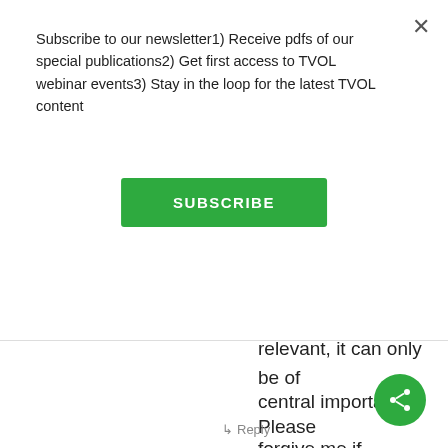Subscribe to our newsletter1) Receive pdfs of our special publications2) Get first access to TVOL webinar events3) Stay in the loop for the latest TVOL content
SUBSCRIBE
relevant, it can only be of central importance.
Please forgive me if this idea has already been thoroughly exercised. Thanks
Reply